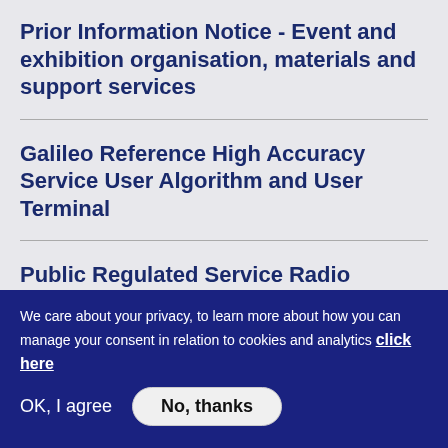Prior Information Notice - Event and exhibition organisation, materials and support services
Galileo Reference High Accuracy Service User Algorithm and User Terminal
Public Regulated Service Radio Frequency Constellation Simulator - PRS RFCS
We care about your privacy, to learn more about how you can manage your consent in relation to cookies and analytics click here
OK, I agree
No, thanks